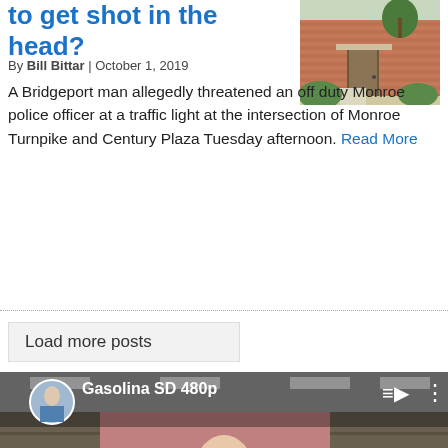to get shot in the head?
By Bill Bittar | October 1, 2019
[Figure (photo): Exterior photo of a brick building with a walkway and greenery]
A Bridgeport man allegedly threatened an off duty Monroe police officer at a traffic light at the intersection of Monroe Turnpike and Century Plaza Tuesday afternoon. Read More
Load more posts
[Figure (screenshot): YouTube video thumbnail showing a man standing in a store, video titled Gasolina SD 480p, with YouTube play button overlay]